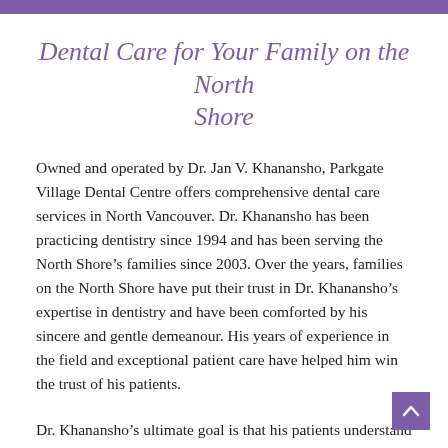Dental Care for Your Family on the North Shore
Owned and operated by Dr. Jan V. Khanansho, Parkgate Village Dental Centre offers comprehensive dental care services in North Vancouver. Dr. Khanansho has been practicing dentistry since 1994 and has been serving the North Shore’s families since 2003. Over the years, families on the North Shore have put their trust in Dr. Khanansho’s expertise in dentistry and have been comforted by his sincere and gentle demeanour. His years of experience in the field and exceptional patient care have helped him win the trust of his patients.
Dr. Khanansho’s ultimate goal is that his patients understand dental health and the plan of care. This is the reason that he